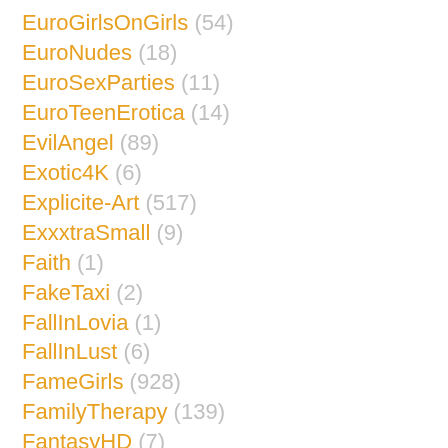EuroGirlsOnGirls (54)
EuroNudes (18)
EuroSexParties (11)
EuroTeenErotica (14)
EvilAngel (89)
Exotic4K (6)
Explicite-Art (517)
ExxxtraSmall (9)
Faith (1)
FakeTaxi (2)
FallInLovia (1)
FallInLust (6)
FameGirls (928)
FamilyTherapy (139)
FantasyHD (7)